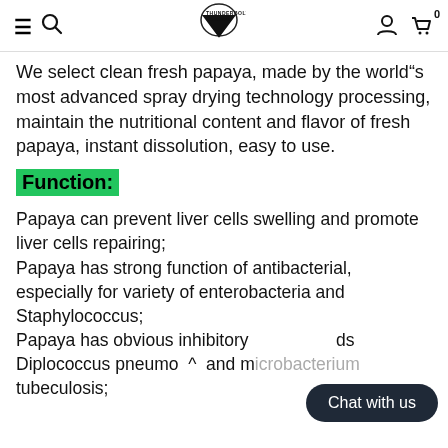≡ 🔍 [logo] 👤 🛒 0
We select clean fresh papaya, made by the world"s most advanced spray drying technology processing, maintain the nutritional content and flavor of fresh papaya, instant dissolution, easy to use.
Function:
Papaya can prevent liver cells swelling and promote liver cells repairing;
Papaya has strong function of antibacterial, especially for variety of enterobacteria and Staphylococcus;
Papaya has obvious inhibitory ... ds Diplococcus pneumo ^ and microbacterium tubeculosis;